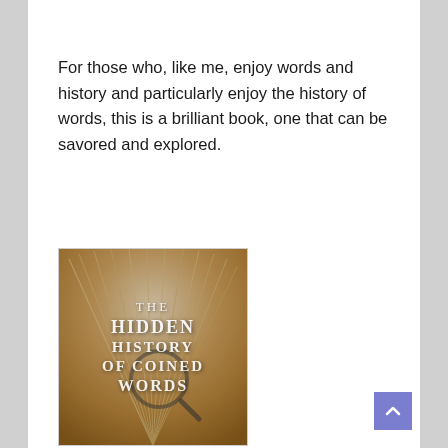For those who, like me, enjoy words and history and particularly enjoy the history of words, this is a brilliant book, one that can be savored and explored.
[Figure (photo): Book cover of 'The Hidden History of Coined Words' showing an open book with fanned pages and a magnifying glass, with white serif text overlaid on the image.]